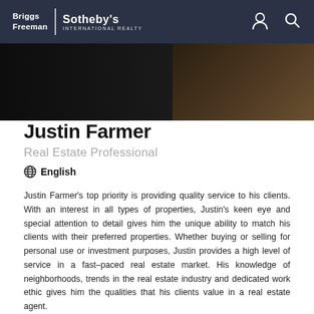Briggs Freeman | Sotheby's International Realty
[Figure (photo): Partial view of a person in dark clothing against a dark background with warm-toned elements on the right side.]
Justin Farmer
Real Estate Professional
🌐 English
Justin Farmer's top priority is providing quality service to his clients. With an interest in all types of properties, Justin's keen eye and special attention to detail gives him the unique ability to match his clients with their preferred properties. Whether buying or selling for personal use or investment purposes, Justin provides a high level of service in a fast–paced real estate market. His knowledge of neighborhoods, trends in the real estate industry and dedicated work ethic gives him the qualities that his clients value in a real estate agent.